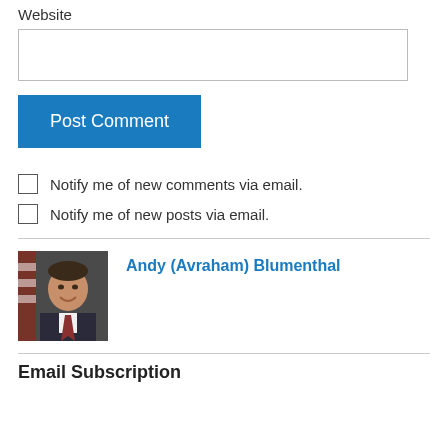Website
Post Comment
Notify me of new comments via email.
Notify me of new posts via email.
[Figure (photo): Headshot photo of Andy (Avraham) Blumenthal, a man in a suit with an American flag in the background, smiling]
Andy (Avraham) Blumenthal
Email Subscription